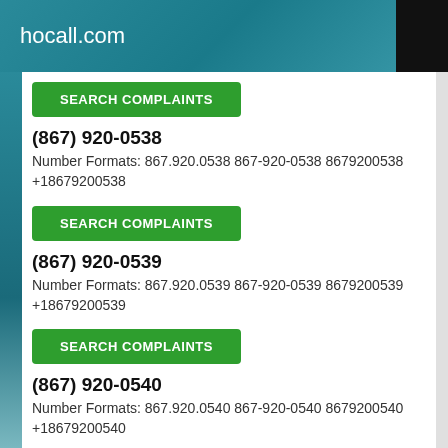hocall.com
SEARCH COMPLAINTS
(867) 920-0538
Number Formats: 867.920.0538 867-920-0538 8679200538 +18679200538
SEARCH COMPLAINTS
(867) 920-0539
Number Formats: 867.920.0539 867-920-0539 8679200539 +18679200539
SEARCH COMPLAINTS
(867) 920-0540
Number Formats: 867.920.0540 867-920-0540 8679200540 +18679200540
SEARCH COMPLAINTS
(867) 920-0541
Number Formats: 867.920.0541 867-920-0541